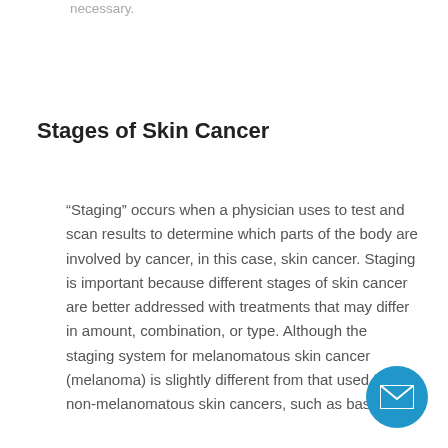necessary.
Stages of Skin Cancer
“Staging” occurs when a physician uses to test and scan results to determine which parts of the body are involved by cancer, in this case, skin cancer. Staging is important because different stages of skin cancer are better addressed with treatments that may differ in amount, combination, or type. Although the staging system for melanomatous skin cancer (melanoma) is slightly different from that used for non-melanomatous skin cancers, such as basal
[Figure (other): Circular blue email/contact button with envelope icon in the bottom right corner]